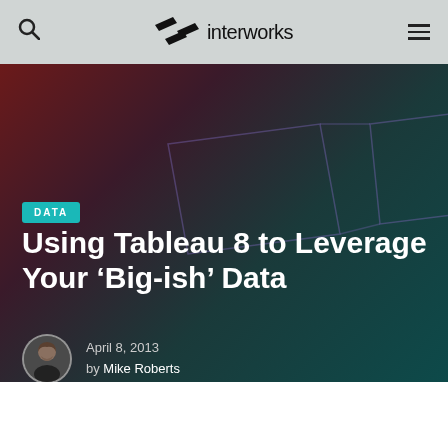interworks
[Figure (screenshot): Website header with search icon, InterWorks logo, and hamburger menu on a light gray background]
[Figure (illustration): Hero banner with dark gradient background (deep red to teal) with decorative parallelogram outlines]
DATA
Using Tableau 8 to Leverage Your ‘Big-ish’ Data
April 8, 2013
by Mike Roberts